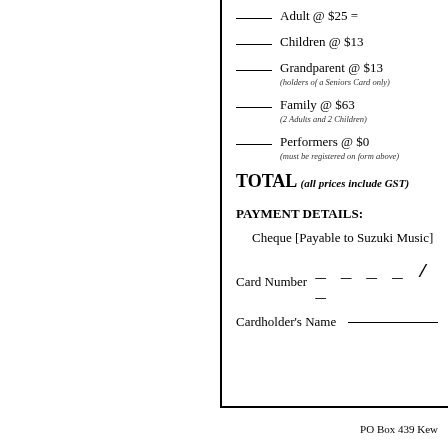____  Adult @ $25 =
____  Children @ $13
____  Grandparent @ $13 (holders of a Seniors Card only)
____  Family @ $63 (2 Adults and 2 Children)
____  Performers @ $0 (must be registered on form above)
TOTAL (all prices include GST)
PAYMENT DETAILS:
Cheque [Payable to Suzuki Music]
Card Number  _ _ _ _ / _
Cardholder's Name ______________________
PO Box 439 Kew